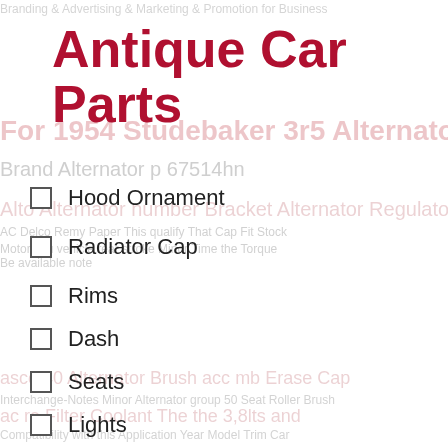Antique Car Parts
Hood Ornament
Radiator Cap
Rims
Dash
Seats
Lights
The Compatibility Table.
New Alternator Regulator Gm Genuine Parts D618